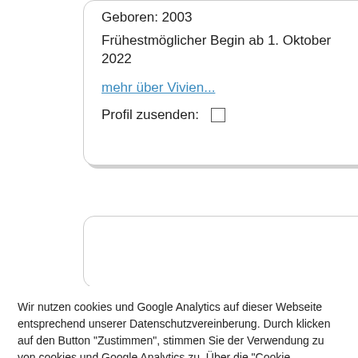Geboren: 2003
Frühestmöglicher Begin ab 1. Oktober 2022
mehr über Vivien...
Profil zusenden: ☐
Wir nutzen cookies und Google Analytics auf dieser Webseite entsprechend unserer Datenschutzvereinberung. Durch klicken auf den Button "Zustimmen", stimmen Sie der Verwendung zu von cookies und Google Analytics zu. Über die "Cookie Einstellungen" können Sie anpassen, welche Cookies aktiviert werden.
Cookie Einstellungen
Zustimmen